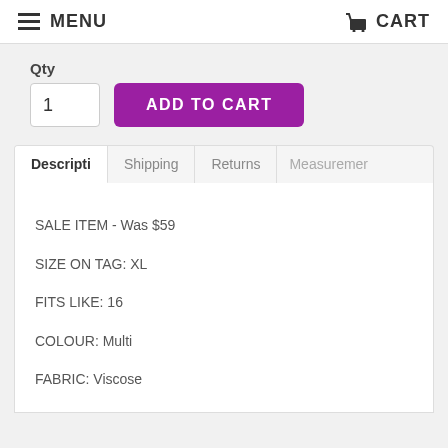MENU   CART
Qty
1   ADD TO CART
Descripti   Shipping   Returns   Measuremer
SALE ITEM - Was $59
SIZE ON TAG: XL
FITS LIKE: 16
COLOUR: Multi
FABRIC: Viscose
CONDITION: Excellent preloved
MEASUREMENTS:
BUST: 56cms    WAIST: 49cms    LENGTH: 114-119cms

NOTES: Back zip access.  Fabric has some